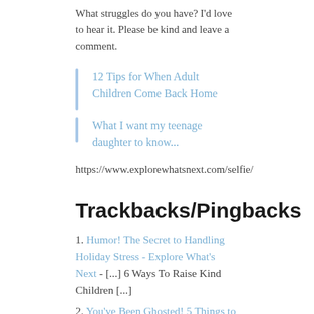What struggles do you have? I'd love to hear it. Please be kind and leave a comment.
12 Tips for When Adult Children Come Back Home
What I want my teenage daughter to know...
https://www.explorewhatsnext.com/selfie/
Trackbacks/Pingbacks
1. Humor! The Secret to Handling Holiday Stress - Explore What's Next - [...] 6 Ways To Raise Kind Children [...]
2. You've Been Ghosted! 5 Things to Do Next -